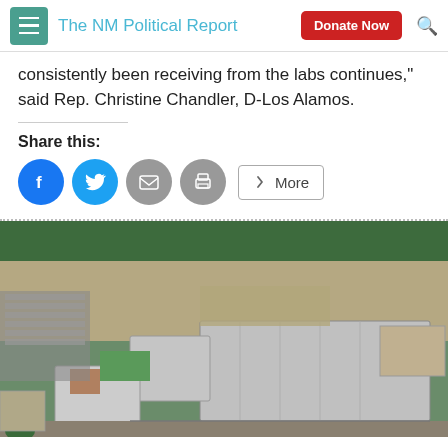The NM Political Report
consistently been receiving from the labs continues," said Rep. Christine Chandler, D-Los Alamos.
Share this:
[Figure (infographic): Social share buttons: Facebook, Twitter, Email, Print, More]
[Figure (photo): Aerial photograph of a large industrial or government laboratory facility with multiple buildings, parking lots, and surrounding forested landscape.]